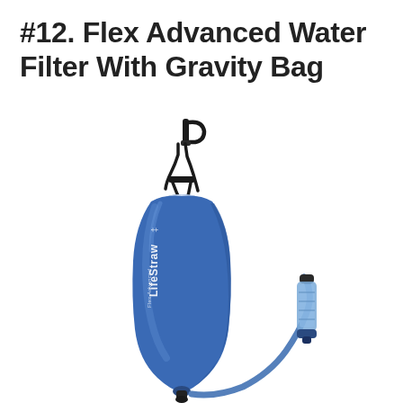#12. Flex Advanced Water Filter With Gravity Bag
[Figure (photo): Product photo of LifeStraw Flex Advanced Water Filter with Gravity Bag. A blue teardrop-shaped flexible water bag is hanging from a black carabiner clip at the top. The bag has 'LifeStraw' branding in white text. To the right, a blue flexible tube/hose connects to a transparent blue cylindrical filter cartridge with a dark cap. The bottom of the bag has a small connector fitting.]